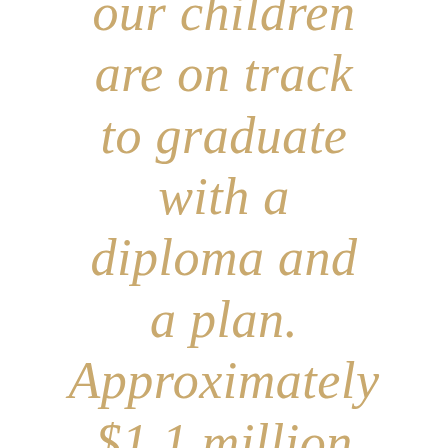our children are on track to graduate with a diploma and a plan. Approximately $1.1 million will be provided to